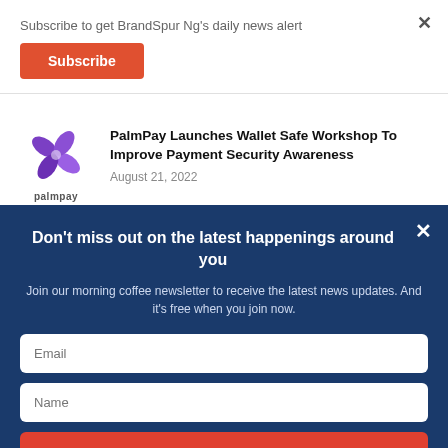Subscribe to get BrandSpur Ng's daily news alert
Subscribe
[Figure (logo): PalmPay logo - purple diamond/rhombus geometric icon above the text 'palmpay']
PalmPay Launches Wallet Safe Workshop To Improve Payment Security Awareness
August 21, 2022
Don't miss out on the latest happenings around you
Join our morning coffee newsletter to receive the latest news updates. And it's free when you join now.
Email
Name
JOIN NOW